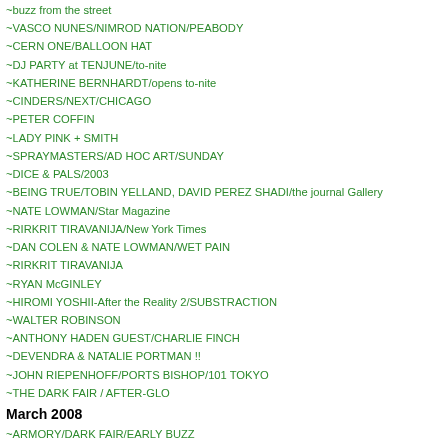~buzz from the street
~VASCO NUNES/NIMROD NATION/PEABODY
~CERN ONE/BALLOON HAT
~DJ PARTY at TENJUNE/to-nite
~KATHERINE BERNHARDT/opens to-nite
~CINDERS/NEXT/CHICAGO
~PETER COFFIN
~LADY PINK + SMITH
~SPRAYMASTERS/AD HOC ART/SUNDAY
~DICE & PALS/2003
~BEING TRUE/TOBIN YELLAND, DAVID PEREZ SHADI/the journal Gallery
~NATE LOWMAN/Star Magazine
~RIRKRIT TIRAVANIJA/New York Times
~DAN COLEN & NATE LOWMAN/WET PAIN
~RIRKRIT TIRAVANIJA
~RYAN McGINLEY
~HIROMI YOSHII-After the Reality 2/SUBSTRACTION
~WALTER ROBINSON
~ANTHONY HADEN GUEST/CHARLIE FINCH
~DEVENDRA & NATALIE PORTMAN !!
~JOHN RIEPENHOFF/PORTS BISHOP/101 TOKYO
~THE DARK FAIR / AFTER-GLO
March 2008
~ARMORY/DARK FAIR/EARLY BUZZ
~PLANET B-BOY
~BROOKLYN EXPRESS DRUMLINE
~AIKO
~LADY PINK
~LADY PINK & AIKO/AD HOC ART/to-nite !!
~PRIVATE TIME, BOBO & ORGY AZTEC/to-nite !!
~GLENN O'BRIEN INTERVIEWS JEAN MICHEL
~RICHARD DUPONT/LEVER HOUSE
~DAM! caught/with JOSHUA SMITH
~APPROPRIATION GLUT !! RIGHT ON !!/NOLAN SIMON
~JCP/A New High in Getting Low
~LISA COOLEY/opening to-nite